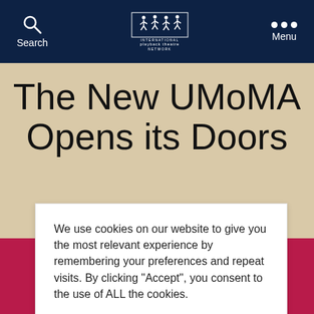International Playback Theatre Network — Search / Menu navigation bar
The New UMoMA Opens its Doors
We use cookies on our website to give you the most relevant experience by remembering your preferences and repeat visits. By clicking “Accept”, you consent to the use of ALL the cookies.
Cookie settings | ACCEPT